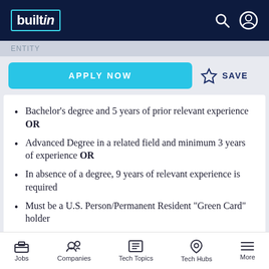builtin
APPLY NOW  ☆ SAVE
Bachelor's degree and 5 years of prior relevant experience OR
Advanced Degree in a related field and minimum 3 years of experience OR
In absence of a degree, 9 years of relevant experience is required
Must be a U.S. Person/Permanent Resident "Green Card" holder
Preferred Qualifications:
Jobs  Companies  Tech Topics  Tech Hubs  More